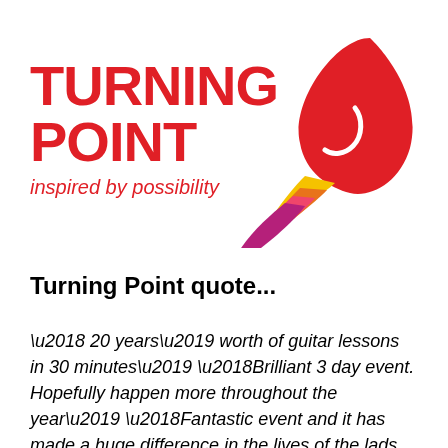[Figure (logo): Turning Point logo with red rocket/flame graphic and text 'TURNING POINT inspired by possibility']
Turning Point quote...
‘20 years’ worth of guitar lessons in 30 minutes’ ‘Brilliant 3 day event. Hopefully happen more throughout the year’ ‘Fantastic event and it has made a huge difference in the lives of the lads